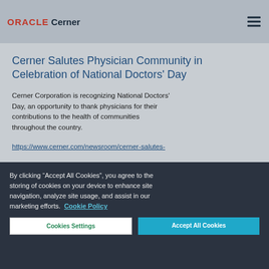ORACLE Cerner
Cerner Salutes Physician Community in Celebration of National Doctors' Day
Cerner Corporation is recognizing National Doctors' Day, an opportunity to thank physicians for their contributions to the health of communities throughout the country.
https://www.cerner.com/newsroom/cerner-salutes-
By clicking “Accept All Cookies”, you agree to the storing of cookies on your device to enhance site navigation, analyze site usage, and assist in our marketing efforts. Cookie Policy
Cookies Settings
Accept All Cookies